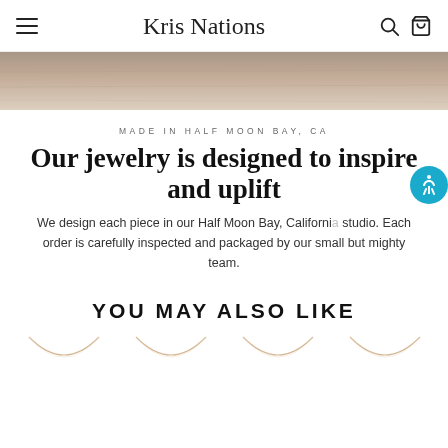Kris Nations — navigation header with menu, logo, search and cart icons
[Figure (photo): Sandy/rocky texture background hero image in muted pink-beige tones]
MADE IN HALF MOON BAY, CA
Our jewelry is designed to inspire and uplift
We design each piece in our Half Moon Bay, California studio. Each order is carefully inspected and packaged by our small but mighty team.
YOU MAY ALSO LIKE
[Figure (photo): Row of delicate gold necklace chain product preview images at the bottom of the page]